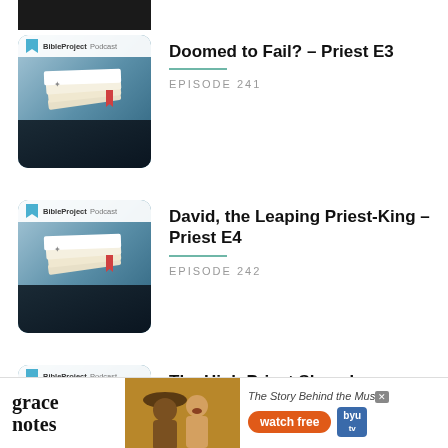[Figure (screenshot): BibleProject Podcast thumbnail - partial view at top (dark background)]
Doomed to Fail? – Priest E3
EPISODE 241
[Figure (screenshot): BibleProject Podcast thumbnail for episode about David, the Leaping Priest-King]
David, the Leaping Priest-King – Priest E4
EPISODE 242
[Figure (screenshot): BibleProject Podcast thumbnail for The High Priest Showdown episode]
The High Priest Showdown – Priest E5
[Figure (screenshot): Grace Notes advertisement banner - The Story Behind the Music, watch free, BYU tv]